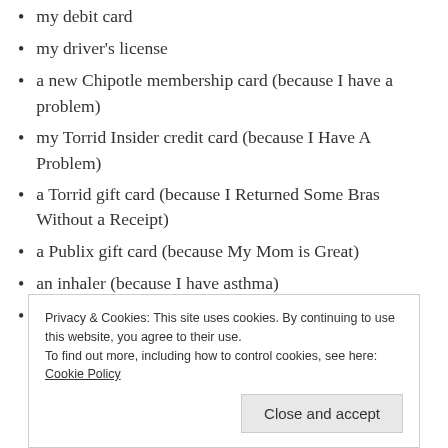my debit card
my driver's license
a new Chipotle membership card (because I have a problem)
my Torrid Insider credit card (because I Have A Problem)
a Torrid gift card (because I Returned Some Bras Without a Receipt)
a Publix gift card (because My Mom is Great)
an inhaler (because I have asthma)
an Epi-Pen (because tree nuts will kill me)
Privacy & Cookies: This site uses cookies. By continuing to use this website, you agree to their use.
To find out more, including how to control cookies, see here: Cookie Policy
Close and accept